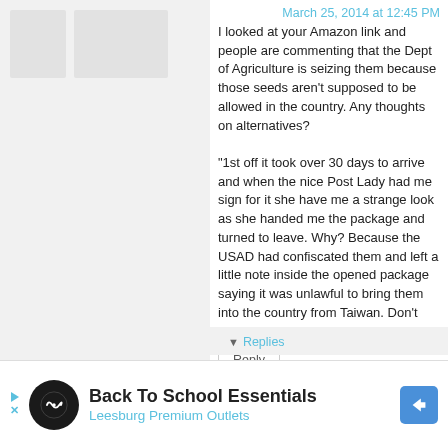March 25, 2014 at 12:45 PM
I looked at your Amazon link and people are commenting that the Dept of Agriculture is seizing them because those seeds aren't supposed to be allowed in the country. Any thoughts on alternatives?

"1st off it took over 30 days to arrive and when the nice Post Lady had me sign for it she have me a strange look as she handed me the package and turned to leave. Why? Because the USAD had confiscated them and left a little note inside the opened package saying it was unlawful to bring them into the country from Taiwan. Don't buy them!!"
Reply
▾ Replies
[Figure (infographic): Advertisement banner: Back To School Essentials - Leesburg Premium Outlets]